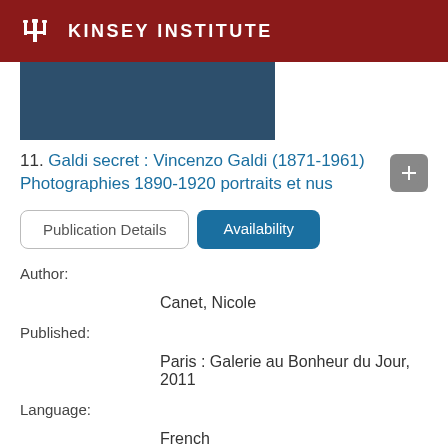KINSEY INSTITUTE
[Figure (photo): Partial book thumbnail with dark blue/navy background]
11. Galdi secret : Vincenzo Galdi (1871-1961) Photographies 1890-1920 portraits et nus
Publication Details | Availability
Author:
Canet, Nicole
Published:
Paris : Galerie au Bonheur du Jour, 2011
Language:
French
Format:
Book